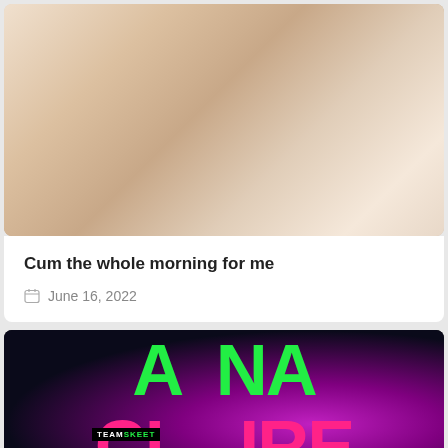[Figure (photo): Photo of a woman in lingerie on a bed]
Cum the whole morning for me
June 16, 2022
[Figure (photo): Promotional image with text ANNA CLAIRE CLUBS and TEAMSKEET branding in green and pink neon colors]